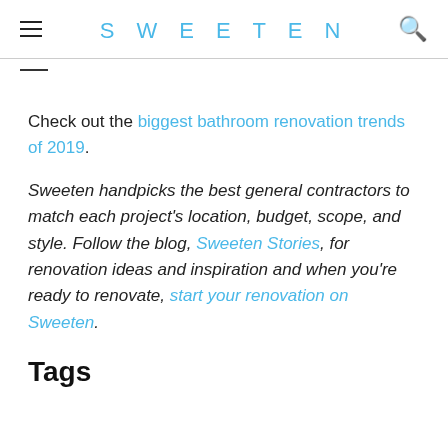SWEETEN
Check out the biggest bathroom renovation trends of 2019.
Sweeten handpicks the best general contractors to match each project's location, budget, scope, and style. Follow the blog, Sweeten Stories, for renovation ideas and inspiration and when you're ready to renovate, start your renovation on Sweeten.
Tags